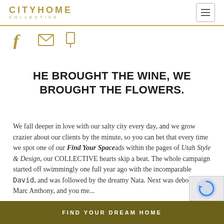CITYHOME COLLECTIVE
[Figure (infographic): Social media icons: Facebook (f), email envelope, Pinterest pin — all in gold/olive color]
HE BROUGHT THE WINE, WE BROUGHT THE FLOWERS.
We fall deeper in love with our salty city every day, and we grow crazier about our clients by the minute, so you can bet that every time we spot one of our Find Your Space ads within the pages of Utah Style & Design, our COLLECTIVE hearts skip a beat. The whole campaign started off swimmingly one full year ago with the incomparable David, and was followed by the dreamy Nata. Next was debonair Marc Anthony, and you me...
FIND YOUR DREAM HOME